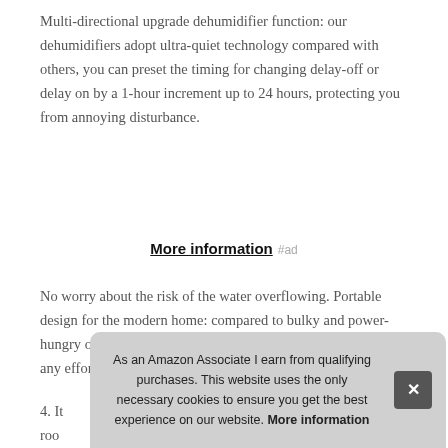Multi-directional upgrade dehumidifier function: our dehumidifiers adopt ultra-quiet technology compared with others, you can preset the timing for changing delay-off or delay on by a 1-hour increment up to 24 hours, protecting you from annoying disturbance.
More information #ad
No worry about the risk of the water overflowing. Portable design for the modern home: compared to bulky and power-hungry old dehumidifiers, you can also move it easily without any efforts.
4. It... roo... you... deh...
As an Amazon Associate I earn from qualifying purchases. This website uses the only necessary cookies to ensure you get the best experience on our website. More information